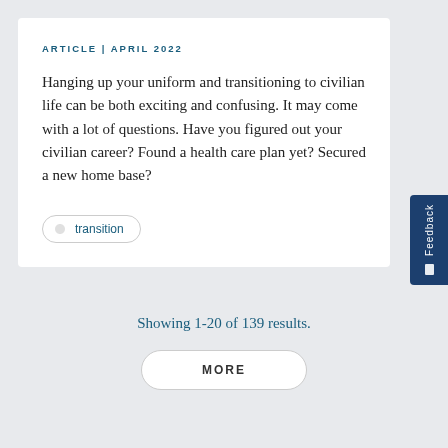ARTICLE | APRIL 2022
Hanging up your uniform and transitioning to civilian life can be both exciting and confusing. It may come with a lot of questions. Have you figured out your civilian career? Found a health care plan yet? Secured a new home base?
transition
Showing 1-20 of 139 results.
MORE